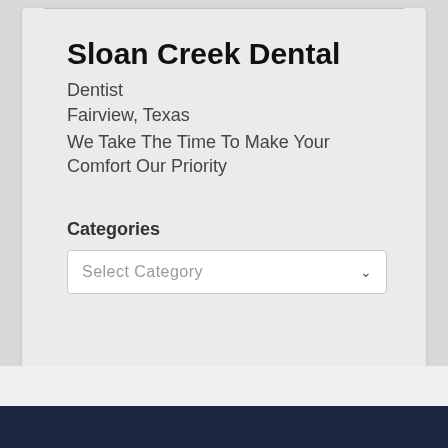Sloan Creek Dental
Dentist
Fairview, Texas
We Take The Time To Make Your Comfort Our Priority
Categories
[Figure (screenshot): A dropdown selector labeled 'Select Category' with a chevron arrow on the right side]